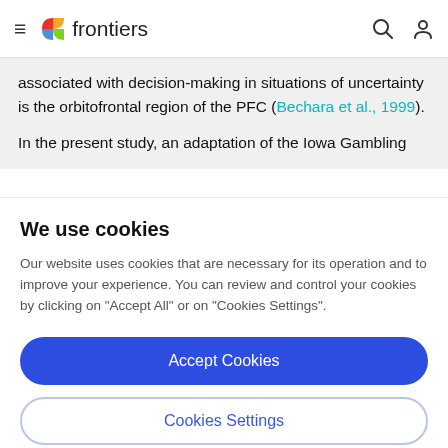frontiers
associated with decision-making in situations of uncertainty is the orbitofrontal region of the PFC (Bechara et al., 1999).
In the present study, an adaptation of the Iowa Gambling
We use cookies
Our website uses cookies that are necessary for its operation and to improve your experience. You can review and control your cookies by clicking on "Accept All" or on "Cookies Settings".
Accept Cookies
Cookies Settings